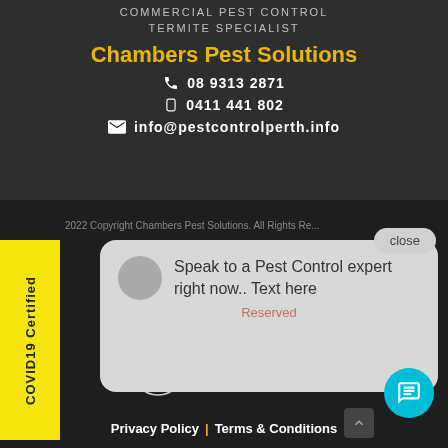COMMERCIAL PEST CONTROL
TERMITE SPECIALIST
Chambers Pest Solutions
08 9313 2871
0411 441 802
info@pestcontrolperth.info
COVID19 Certified
2022 Copyright Chambers Pest Solutions. All Rights Reserved
Speak to a Pest Control expert right now.. Text here
close
Powered by AiiMS
Privacy Policy | Terms & Conditions